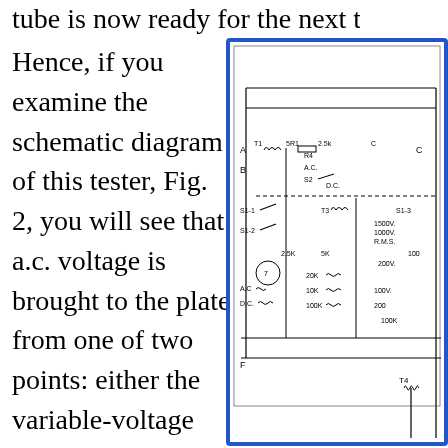tube is now ready for the next triggeri...
Hence, if you examine the schematic diagram of this tester, Fig. 2, you will see that a.c. voltage is brought to the plate from one of two points: either the variable-voltage transformer, T1 or
[Figure (schematic): Partial schematic diagram of a tube tester circuit showing components including transformers T1, T2, T3, T4, resistors (5K, 2.5K, R4, 2.5K, 5K, 20K, 10K, 100K, 200, 100K), switches S1-1, S1-2, S2, S1-3, voltage labels (1500V, 1000V R.M.S., 200V, 100V), and labeled terminals A, B, C, F with AC and DC indicators.]